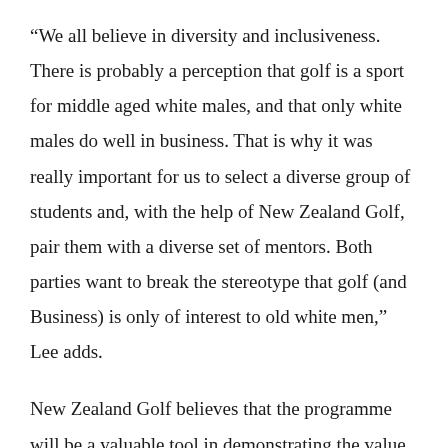“We all believe in diversity and inclusiveness. There is probably a perception that golf is a sport for middle aged white males, and that only white males do well in business. That is why it was really important for us to select a diverse group of students and, with the help of New Zealand Golf, pair them with a diverse set of mentors. Both parties want to break the stereotype that golf (and Business) is only of interest to old white men,” Lee adds.
New Zealand Golf believes that the programme will be a valuable tool in demonstrating the value of the game of golf to young people.
“Golf is a game that enriches young lives and has always been a useful sport to play in the business world. We believe the